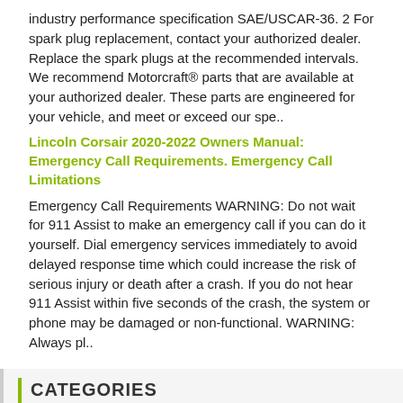industry performance specification SAE/USCAR-36. 2 For spark plug replacement, contact your authorized dealer. Replace the spark plugs at the recommended intervals. We recommend Motorcraft® parts that are available at your authorized dealer. These parts are engineered for your vehicle, and meet or exceed our spe..
Lincoln Corsair 2020-2022 Owners Manual: Emergency Call Requirements. Emergency Call Limitations
Emergency Call Requirements WARNING: Do not wait for 911 Assist to make an emergency call if you can do it yourself. Dial emergency services immediately to avoid delayed response time which could increase the risk of serious injury or death after a crash. If you do not hear 911 Assist within five seconds of the crash, the system or phone may be damaged or non-functional. WARNING: Always pl..
CATEGORIES
Manuals Home
1st Generation Lincoln Corsair Owners Manual
1st Generation Lincoln Corsair Service Manual
Child Safety Locks